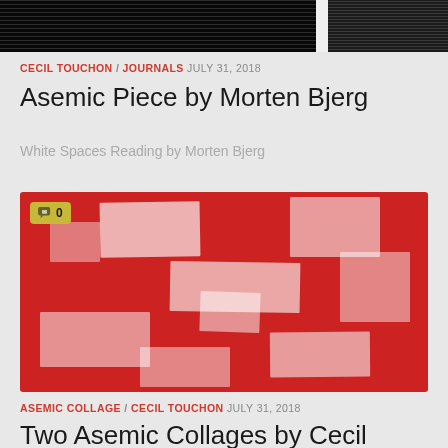[Figure (photo): Top cropped image strip showing black abstract asemic writing on light background, split into two panels]
CECIL TOUCHON / JOURNALS JULY 31, 2018
Asemic Piece by Morten Bjerg
White Spaces Reading by Morten Bjerg
[Figure (photo): Red and white asemic collage artwork by Cecil Touchon featuring abstract letter-like forms in red and white, with a comment bubble showing '0' in the top left corner]
ASEMIC COLLAGE / CECIL TOUCHON JULY 31, 2018
Two Asemic Collages by Cecil Touchon